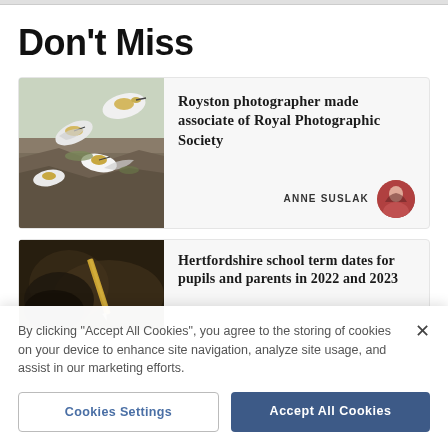Don't Miss
[Figure (photo): Gannets (seabirds) on rocky surface, white birds with golden heads, photographed outdoors]
Royston photographer made associate of Royal Photographic Society
ANNE SUSLAK
[Figure (photo): Dark close-up photo showing a person writing with a pencil, blurred background]
Hertfordshire school term dates for pupils and parents in 2022 and 2023
By clicking "Accept All Cookies", you agree to the storing of cookies on your device to enhance site navigation, analyze site usage, and assist in our marketing efforts.
Cookies Settings
Accept All Cookies